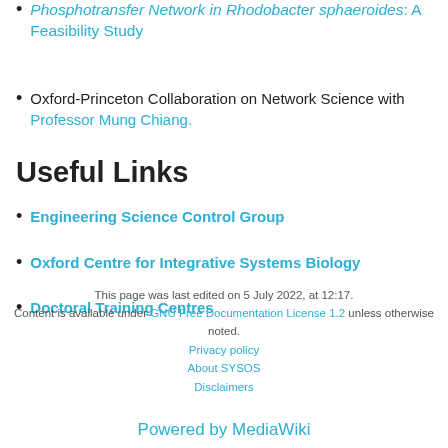Phosphotransfer Network in Rhodobacter sphaeroides: A Feasibility Study
Oxford-Princeton Collaboration on Network Science with Professor Mung Chiang.
Useful Links
Engineering Science Control Group
Oxford Centre for Integrative Systems Biology
Doctoral Training Centres
This page was last edited on 5 July 2022, at 12:17.
Content is available under GNU Free Documentation License 1.2 unless otherwise noted.
Privacy policy
About SYSOS
Disclaimers
Powered by MediaWiki